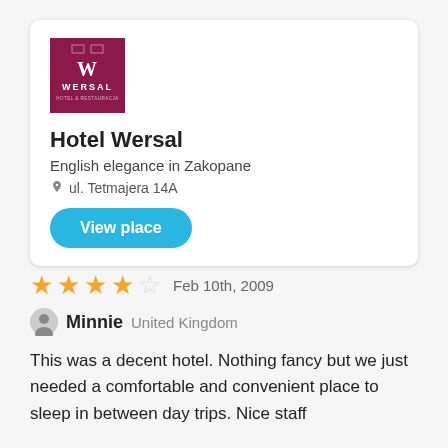[Figure (logo): Wersal Hotel & Restaurant logo — dark magenta/maroon square with stylized W and text WERSAL HOTEL & RESTAURACJA]
Hotel Wersal
English elegance in Zakopane
ul. Tetmajera 14A
View place
★★★★☆  Feb 10th, 2009
Minnie  United Kingdom
This was a decent hotel. Nothing fancy but we just needed a comfortable and convenient place to sleep in between day trips. Nice staff